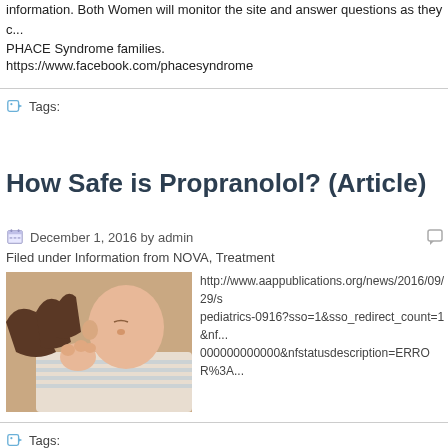information. Both Women will monitor the site and answer questions as they c... PHACE Syndrome families.
https://www.facebook.com/phacesyndrome
Tags:
How Safe is Propranolol? (Article)
December 1, 2016 by admin
Filed under Information from NOVA, Treatment
[Figure (photo): Close-up photo of an adult hand holding a newborn baby's hand]
http://www.aappublications.org/news/2016/09/29/s pediatrics-0916?sso=1&sso_redirect_count=1&nf... 000000000000&nfstatusdescription=ERROR%3A...
Tags: